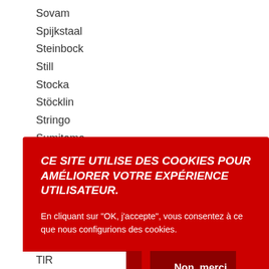Sovam
Spijkstaal
Steinbock
Still
Stocka
Stöcklin
Stringo
Sumitomo
Svetruck
Tailift
CE SITE UTILISE DES COOKIES POUR AMÉLIORER VOTRE EXPÉRIENCE UTILISATEUR.

En cliquant sur "OK, j'accepte", vous consentez à ce que nous configurions des cookies.

[OK, j'accepte] [Non, merci]
TLR...